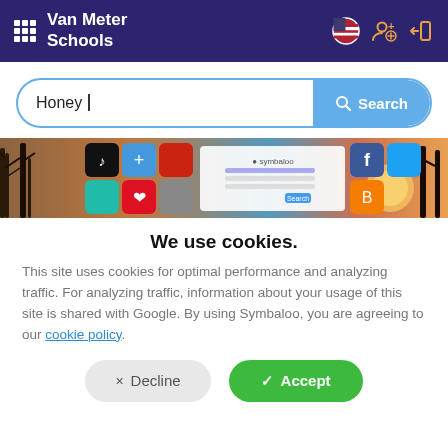Van Meter Schools
Honey
[Figure (screenshot): Symbaloo webpage screenshot showing a grid of app/website tiles including TikTok, Pinterest, Facebook, Twitter, Blogger icons over a background of trees at sunset]
We use cookies.
This site uses cookies for optimal performance and analyzing traffic. For analyzing traffic, information about your usage of this site is shared with Google. By using Symbaloo, you are agreeing to our cookie policy.
Decline
Accept